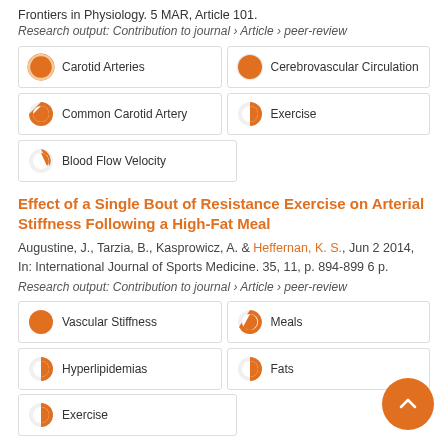Frontiers in Physiology. 5 MAR, Article 101.
Research output: Contribution to journal › Article › peer-review
Carotid Arteries
Cerebrovascular Circulation
Common Carotid Artery
Exercise
Blood Flow Velocity
Effect of a Single Bout of Resistance Exercise on Arterial Stiffness Following a High-Fat Meal
Augustine, J., Tarzia, B., Kasprowicz, A. & Heffernan, K. S., Jun 2 2014, In: International Journal of Sports Medicine. 35, 11, p. 894-899 6 p.
Research output: Contribution to journal › Article › peer-review
Vascular Stiffness
Meals
Hyperlipidemias
Fats
Exercise